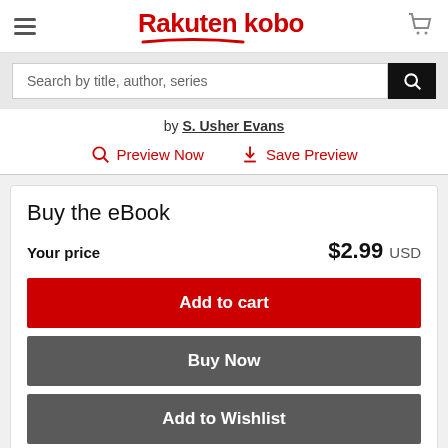Rakuten kobo
Search by title, author, series
by S. Usher Evans
Preview Now  Save Preview
Buy the eBook
Your price   $2.99 USD
Add to cart
Buy Now
Add to Wishlist